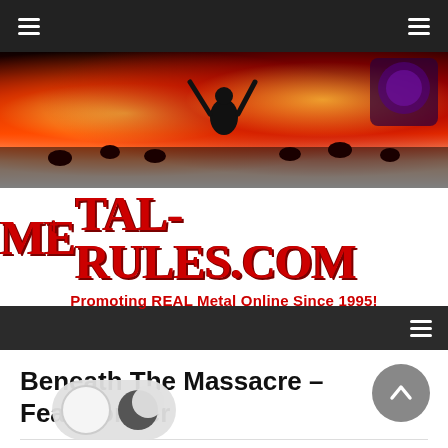Metal-Rules.com navigation bar
[Figure (photo): Concert banner photo showing a silhouetted figure making devil horns sign against dramatic red and orange stage lighting with crowd below]
[Figure (logo): Metal-Rules.com logo in red gothic/metal lettering with tagline 'Promoting REAL Metal Online Since 1995!']
Navigation menu bar (dark)
Beneath The Massacre – Fearmonger
By Peter Atkinson